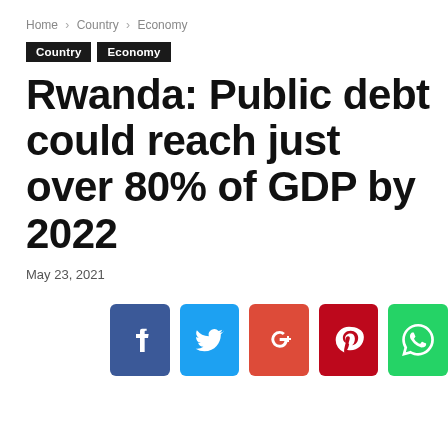Home › Country › Economy
Country  Economy
Rwanda: Public debt could reach just over 80% of GDP by 2022
May 23, 2021
[Figure (other): Social sharing buttons: Facebook, Twitter, Google+, Pinterest, WhatsApp]